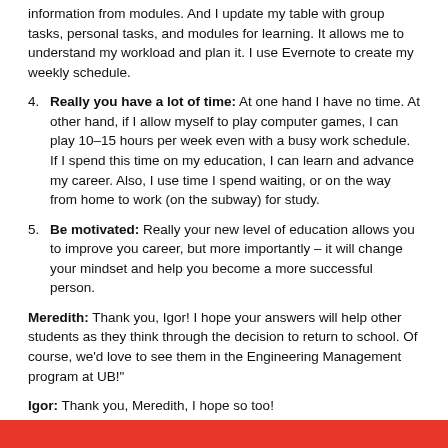information from modules. And I update my table with group tasks, personal tasks, and modules for learning. It allows me to understand my workload and plan it. I use Evernote to create my weekly schedule.
4. Really you have a lot of time: At one hand I have no time. At other hand, if I allow myself to play computer games, I can play 10-15 hours per week even with a busy work schedule. If I spend this time on my education, I can learn and advance my career. Also, I use time I spend waiting, or on the way from home to work (on the subway) for study.
5. Be motivated: Really your new level of education allows you to improve you career, but more importantly – it will change your mindset and help you become a more successful person.
Meredith: Thank you, Igor! I hope your answers will help other students as they think through the decision to return to school. Of course, we'd love to see them in the Engineering Management program at UB!"
Igor: Thank you, Meredith, I hope so too!